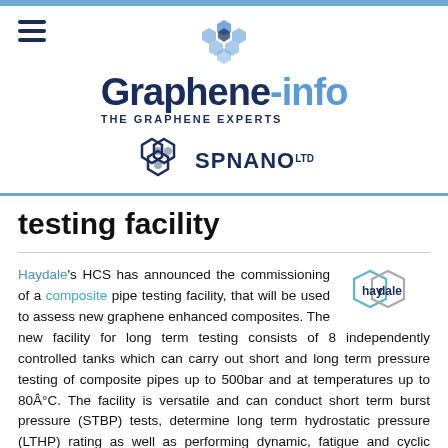Graphene-info — THE GRAPHENE EXPERTS
[Figure (logo): Graphene-info logo with hexagonal graphene icon above the text 'Graphene-info' and tagline 'THE GRAPHENE EXPERTS', plus SPNANO Ltd logo below]
testing facility
Haydale's HCS has announced the commissioning of a composite pipe testing facility, that will be used to assess new graphene enhanced composites. The new facility for long term testing consists of 8 independently controlled tanks which can carry out short and long term pressure testing of composite pipes up to 500bar and at temperatures up to 80Â°C. The facility is versatile and can conduct short term burst pressure (STBP) tests, determine long term hydrostatic pressure (LTHP) rating as well as performing dynamic, fatigue and cyclic testing